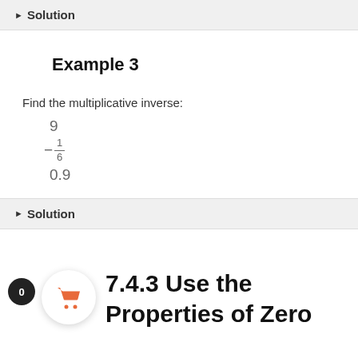▶ Solution
Example 3
Find the multiplicative inverse:
9
−1/6
0.9
▶ Solution
7.4.3 Use the Properties of Zero